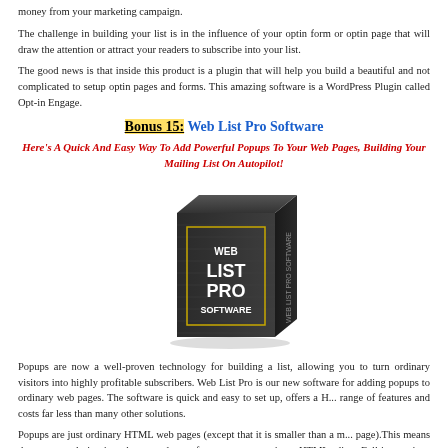money from your marketing campaign.
The challenge in building your list is in the influence of your optin form or optin page that will draw the attention or attract your readers to subscribe into your list.
The good news is that inside this product is a plugin that will help you build a beautiful and not complicated to setup optin pages and forms. This amazing software is a WordPress Plugin called Opt-in Engage.
Bonus 15: Web List Pro Software
Here's A Quick And Easy Way To Add Powerful Popups To Your Web Pages, Building Your Mailing List On Autopilot!
[Figure (illustration): 3D box product image for Web List Pro Software with dark background and gold/white text]
Popups are now a well-proven technology for building a list, allowing you to turn ordinary visitors into highly profitable subscribers. Web List Pro is our new software for adding popups to ordinary web pages. The software is quick and easy to set up, offers a H... range of features and costs far less than many other solutions.
Popups are just ordinary HTML web pages (except that it is smaller than a m... page).This means that you can design just about any layout for your popup, using... HTML editor. Full instructions are included with the software. But to make it really easy,